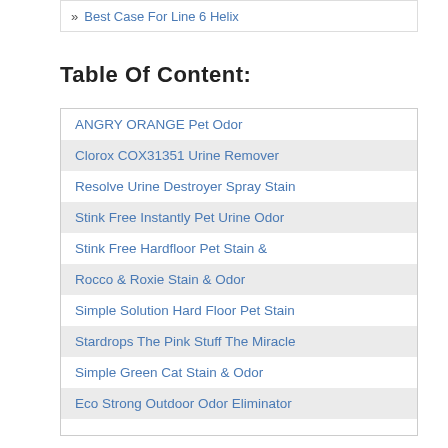» Best Case For Line 6 Helix
Table Of Content:
ANGRY ORANGE Pet Odor
Clorox COX31351 Urine Remover
Resolve Urine Destroyer Spray Stain
Stink Free Instantly Pet Urine Odor
Stink Free Hardfloor Pet Stain &
Rocco & Roxie Stain & Odor
Simple Solution Hard Floor Pet Stain
Stardrops The Pink Stuff The Miracle
Simple Green Cat Stain & Odor
Eco Strong Outdoor Odor Eliminator